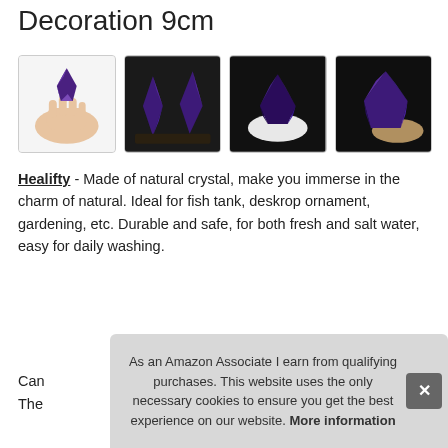Decoration 9cm
[Figure (photo): Four product photos of amethyst crystal clusters: hand holding crystal, two crystals on dark surface, single crystal on white background, single crystal angled on dark background]
Healifty - Made of natural crystal, make you immerse in the charm of natural. Ideal for fish tank, deskrop ornament, gardening, etc. Durable and safe, for both fresh and salt water, easy for daily washing.
Can
The
As an Amazon Associate I earn from qualifying purchases. This website uses the only necessary cookies to ensure you get the best experience on our website. More information